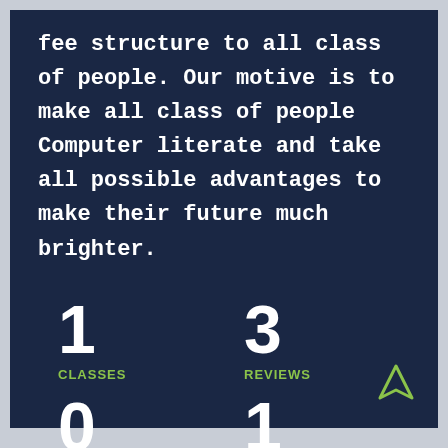fee structure to all class of people. Our motive is to make all class of people Computer literate and take all possible advantages to make their future much brighter.
1
CLASSES
3
REVIEWS
0
ACTIVITIES
1
PRIZE LAURATES